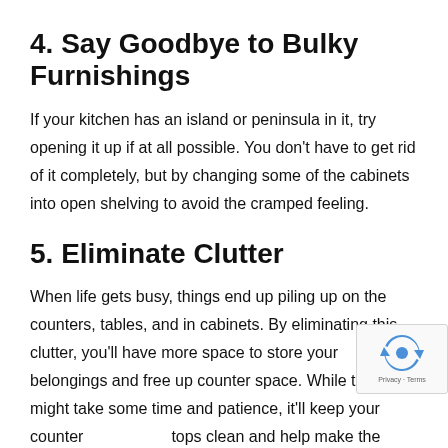4. Say Goodbye to Bulky Furnishings
If your kitchen has an island or peninsula in it, try opening it up if at all possible. You don't have to get rid of it completely, but by changing some of the cabinets into open shelving to avoid the cramped feeling.
5. Eliminate Clutter
When life gets busy, things end up piling up on the counters, tables, and in cabinets. By eliminating this clutter, you'll have more space to store your belongings and free up counter space. While this might take some time and patience, it'll keep your countertops clean and help make the space seem larger.
To refresh the cabinets in your home, give us a call today to